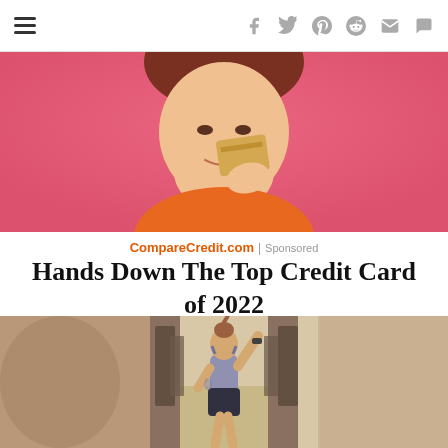≡  f  𝐲  𝐩  𝐬  ✉  ✉
[Figure (photo): Woman with pink background holding a gold credit card near her face, smiling]
CompareCredit.com | Sponsored
Hands Down The Top Credit Card of 2022
[Figure (photo): Woman in workout clothes standing in a hallway with arms raised]